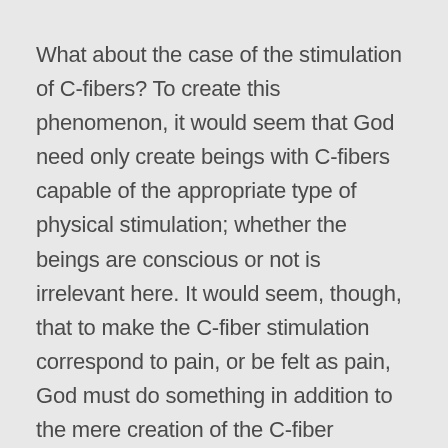What about the case of the stimulation of C-fibers? To create this phenomenon, it would seem that God need only create beings with C-fibers capable of the appropriate type of physical stimulation; whether the beings are conscious or not is irrelevant here. It would seem, though, that to make the C-fiber stimulation correspond to pain, or be felt as pain, God must do something in addition to the mere creation of the C-fiber stimulation; He must let the creatures feel the C-fiber stimulation as pain, and not as a tickle, or as warmth, or as nothing, as apparently would also have been within His powers . . . The same cannot be said for pain; if the phenomenon